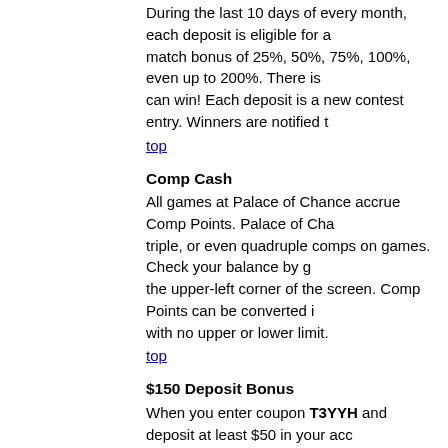During the last 10 days of every month, each deposit is eligible for a match bonus of 25%, 50%, 75%, 100%, even up to 200%. There is can win! Each deposit is a new contest entry. Winners are notified t
top
Comp Cash
All games at Palace of Chance accrue Comp Points. Palace of Cha triple, or even quadruple comps on games. Check your balance by the upper-left corner of the screen. Comp Points can be converted with no upper or lower limit.
top
$150 Deposit Bonus
When you enter coupon T3YYH and deposit at least $50 in your ac 15% of your deposit up to a maximum bonus of $150. The bonus m play with or withdraw once you have wagered five times your dep $500 you would redeem a $75 bonus.
top
50% Deposit Bonus
When you deposit at least $50 in your money account and select co receive an automatic bonus of $25. The bonus money will be availa through $500.
top
Neteller / PrePaidATM Bonus
Get a 10% deposit bonus when you deposit with Neteller or PrePai available to you after you have wagered 10x your deposit. When yo account through this link, you are eligible for a $10 bonus upon con bonus applies to net deposits only.